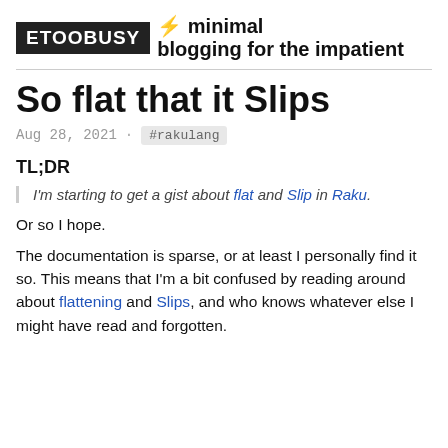ETOOBUSY · minimal blogging for the impatient
So flat that it Slips
Aug 28, 2021 · #rakulang
TL;DR
I'm starting to get a gist about flat and Slip in Raku.
Or so I hope.
The documentation is sparse, or at least I personally find it so. This means that I'm a bit confused by reading around about flattening and Slips, and who knows whatever else I might have read and forgotten.